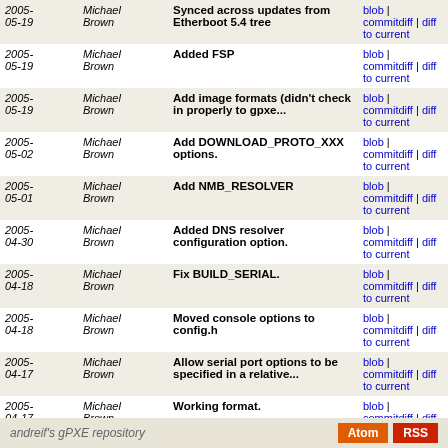| Date | Author | Message | Links |
| --- | --- | --- | --- |
| 2005-05-19 | Michael Brown | Synced across updates from Etherboot 5.4 tree | blob | commitdiff | diff to current |
| 2005-05-19 | Michael Brown | Added FSP | blob | commitdiff | diff to current |
| 2005-05-19 | Michael Brown | Add image formats (didn't check in properly to gpxe... | blob | commitdiff | diff to current |
| 2005-05-02 | Michael Brown | Add DOWNLOAD_PROTO_XXX options. | blob | commitdiff | diff to current |
| 2005-05-01 | Michael Brown | Add NMB_RESOLVER | blob | commitdiff | diff to current |
| 2005-04-30 | Michael Brown | Added DNS resolver configuration option. | blob | commitdiff | diff to current |
| 2005-04-18 | Michael Brown | Fix BUILD_SERIAL. | blob | commitdiff | diff to current |
| 2005-04-18 | Michael Brown | Moved console options to config.h | blob | commitdiff | diff to current |
| 2005-04-17 | Michael Brown | Allow serial port options to be specified in a relative... | blob | commitdiff | diff to current |
| 2005-04-17 | Michael Brown | Working format. | blob | commitdiff | diff to current |
| 2005-04-17 | Michael Brown | Experiment; let's see if we can get individual config... | blob | commitdiff | diff to current |
andreif's gPXE repository | Atom | RSS